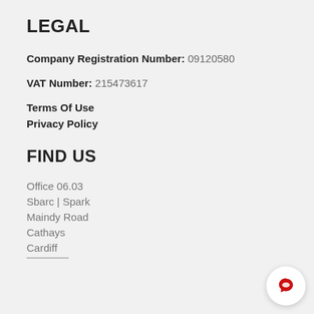LEGAL
Company Registration Number: 09120580
VAT Number: 215473617
Terms Of Use
Privacy Policy
FIND US
Office 06.03
Sbarc | Spark
Maindy Road
Cathays
Cardiff
CF24 4HQ